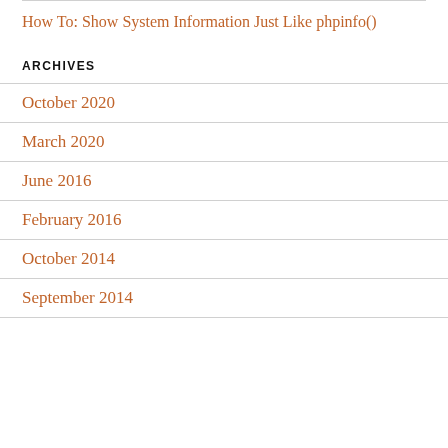How To: Show System Information Just Like phpinfo()
ARCHIVES
October 2020
March 2020
June 2016
February 2016
October 2014
September 2014